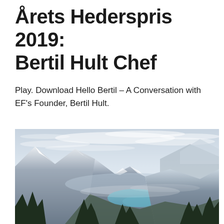Årets Hederspris 2019: Bertil Hult Chef
Play. Download Hello Bertil – A Conversation with EF's Founder, Bertil Hult.
[Figure (photo): Aerial panoramic view of a turquoise alpine lake surrounded by snow-capped mountains and evergreen forest trees, overcast sky with wispy clouds, mountain valley landscape.]